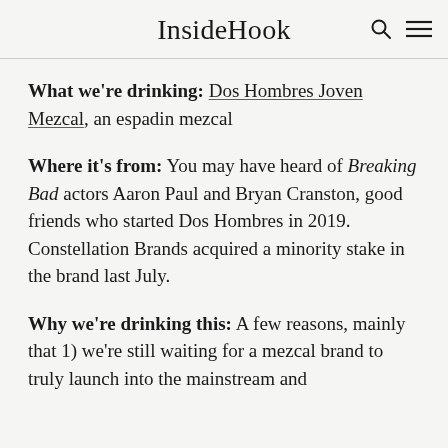InsideHook
What we're drinking: Dos Hombres Joven Mezcal, an espadin mezcal
Where it's from: You may have heard of Breaking Bad actors Aaron Paul and Bryan Cranston, good friends who started Dos Hombres in 2019. Constellation Brands acquired a minority stake in the brand last July.
Why we're drinking this: A few reasons, mainly that 1) we're still waiting for a mezcal brand to truly launch into the mainstream and